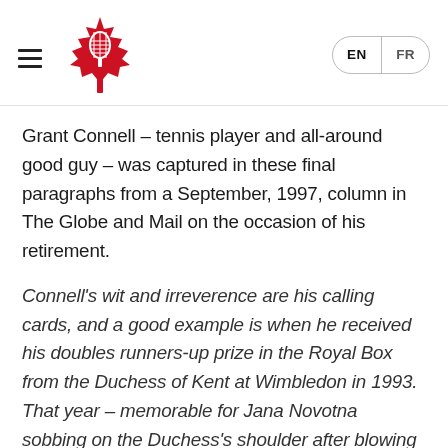Tennis Canada navigation header with logo and EN/FR language switcher
Grant Connell – tennis player and all-around good guy – was captured in these final paragraphs from a September, 1997, column in The Globe and Mail on the occasion of his retirement.
Connell's wit and irreverence are his calling cards, and a good example is when he received his doubles runners-up prize in the Royal Box from the Duchess of Kent at Wimbledon in 1993. That year – memorable for Jana Novotna sobbing on the Duchess's shoulder after blowing